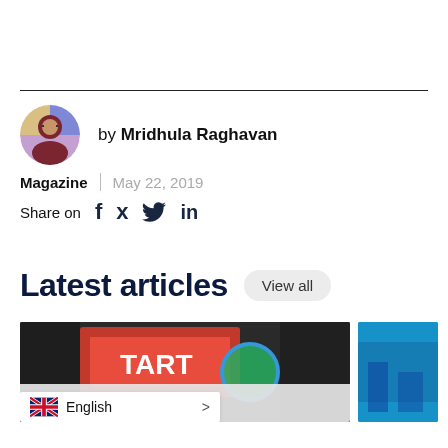[Figure (photo): Author avatar photo of Mridhula Raghavan, circular crop]
by Mridhula Raghavan
Magazine | May 22, 2019
Share on  f  🐦  in
Latest articles
[Figure (photo): Article thumbnail image showing a protest sign reading TART... with a globe graphic, partially obscured, and a blurred figure]
[Figure (photo): Article thumbnail image with blue/teal background, partial]
ncher la
English >